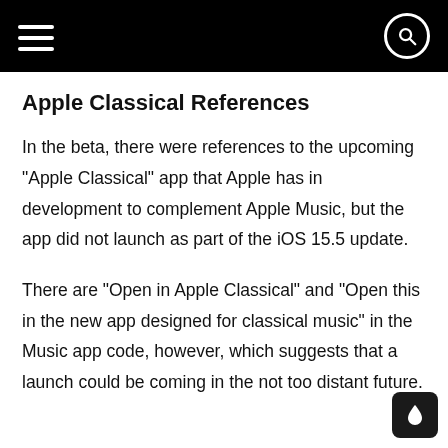Apple Classical References
In the beta, there were references to the upcoming "Apple Classical" app that Apple has in development to complement Apple Music, but the app did not launch as part of the iOS 15.5 update.
There are "Open in Apple Classical" and "Open this in the new app designed for classical music" in the Music app code, however, which suggests that a launch could be coming in the not too distant future.